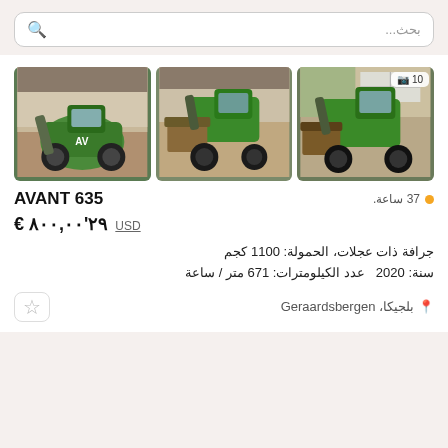بحث...
[Figure (photo): Three photos of a green Avant 635 wheeled loader/compact loader with bucket attachment, shown in an industrial warehouse setting]
AVANT 635
37 ساعة.
€ ٢٩'٨٠٠,٠٠  USD
جرافة ذات عجلات، الحمولة: 1100 كجم
سنة: 2020  عدد الكيلومترات: 671 متر / ساعة
بلجيكا، Geraardsbergen